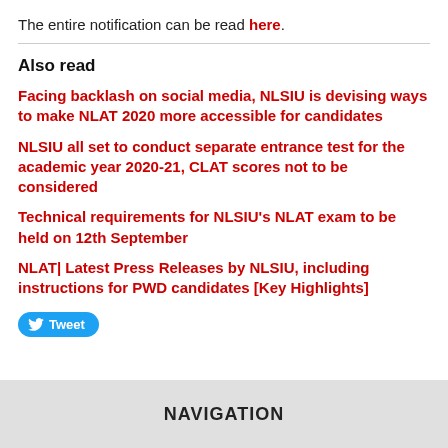The entire notification can be read here.
Also read
Facing backlash on social media, NLSIU is devising ways to make NLAT 2020 more accessible for candidates
NLSIU all set to conduct separate entrance test for the academic year 2020-21, CLAT scores not to be considered
Technical requirements for NLSIU's NLAT exam to be held on 12th September
NLAT| Latest Press Releases by NLSIU, including instructions for PWD candidates [Key Highlights]
NAVIGATION